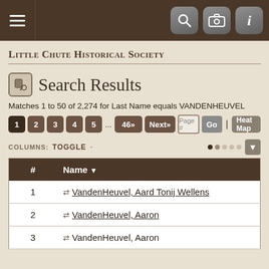Little Chute Historical Society — navigation bar with hamburger menu and search/camera/info icons
Little Chute Historical Society
Search Results
Matches 1 to 50 of 2,274 for Last Name equals VANDENHEUVEL
Pagination: 1 2 3 4 5 ... 46» Next» Page # Go | Heat Map
COLUMNS: TOGGLE
| # | Name ▼ |
| --- | --- |
| 1 | VandenHeuvel, Aard Tonij Wellens |
| 2 | VandenHeuvel, Aaron |
| 3 | VandenHeuvel, Aaron |